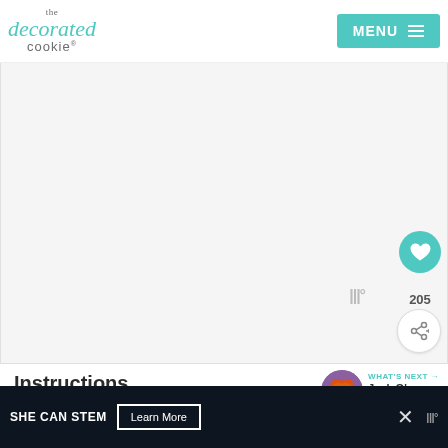the decorated cookie — MENU
[Figure (screenshot): Blank/loading video player area with Wistia watermark logo]
Instructions
[Figure (photo): What's Next thumbnail showing Jack O' Lantern lollipops on purple background]
WHAT'S NEXT → Jack O' Lantern...
Pour some orange candy melts (about 1/2 cup)
SHE CAN STEM   Learn More